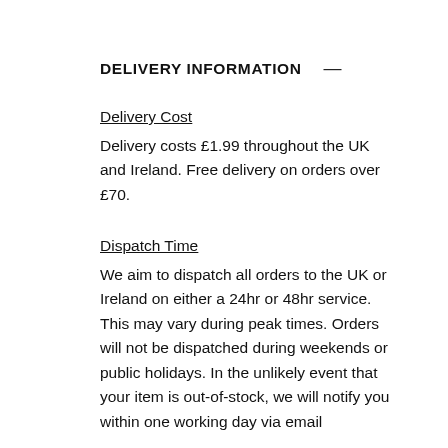DELIVERY INFORMATION
Delivery Cost
Delivery costs £1.99 throughout the UK and Ireland. Free delivery on orders over £70.
Dispatch Time
We aim to dispatch all orders to the UK or Ireland on either a 24hr or 48hr service. This may vary during peak times. Orders will not be dispatched during weekends or public holidays. In the unlikely event that your item is out-of-stock, we will notify you within one working day via email